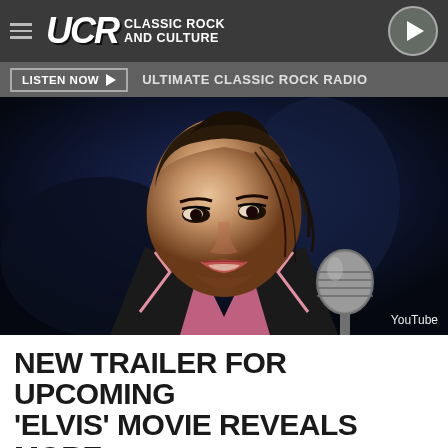UCR Classic Rock and Culture
LISTEN NOW | ULTIMATE CLASSIC ROCK RADIO
[Figure (photo): A young man styled to look like Elvis Presley, wearing a black and pink jacket, leaning toward a vintage microphone against a dark blue background. YouTube watermark in bottom right.]
NEW TRAILER FOR UPCOMING 'ELVIS' MOVIE REVEALS MORE